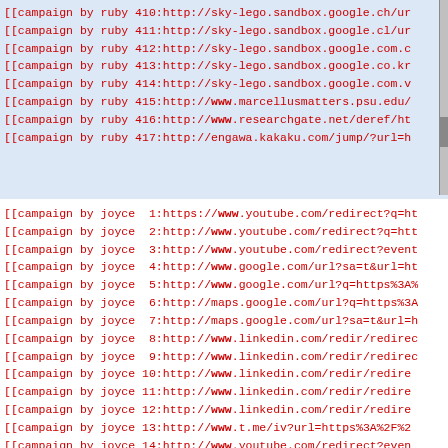[[campaign by ruby 410:http://sky-lego.sandbox.google.ch/ur
[[campaign by ruby 411:http://sky-lego.sandbox.google.cl/ur
[[campaign by ruby 412:http://sky-lego.sandbox.google.com.c
[[campaign by ruby 413:http://sky-lego.sandbox.google.co.kr
[[campaign by ruby 414:http://sky-lego.sandbox.google.com.v
[[campaign by ruby 415:http://www.marcellusmatters.psu.edu/
[[campaign by ruby 416:http://www.researchgate.net/deref/ht
[[campaign by ruby 417:http://engawa.kakaku.com/jump/?url=h
[[campaign by joyce 1:https://www.youtube.com/redirect?q=ht
[[campaign by joyce 2:http://www.youtube.com/redirect?q=htt
[[campaign by joyce 3:http://www.youtube.com/redirect?event
[[campaign by joyce 4:http://www.google.com/url?sa=t&url=ht
[[campaign by joyce 5:http://www.google.com/url?q=https%3A%
[[campaign by joyce 6:http://maps.google.com/url?q=https%3A
[[campaign by joyce 7:http://maps.google.com/url?sa=t&url=h
[[campaign by joyce 8:http://www.linkedin.com/redir/redirec
[[campaign by joyce 9:http://www.linkedin.com/redir/redirec
[[campaign by joyce 10:http://www.linkedin.com/redir/redire
[[campaign by joyce 11:http://www.linkedin.com/redir/redire
[[campaign by joyce 12:http://www.linkedin.com/redir/redire
[[campaign by joyce 13:http://www.t.me/iv?url=https%3A%2F%2
[[campaign by joyce 14:http://www.youtube.com/redirect?even
[[campaign by joyce 15:http://www.youtube.com/redirect?q=ht
[[campaign by joyce 16:http://www.google.com/url?q=https%3A
[[campaign by joyce 17:http://...